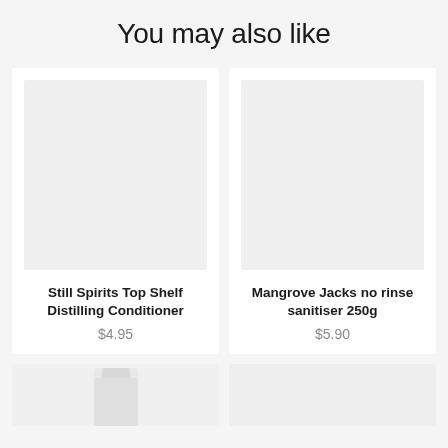You may also like
[Figure (photo): Product image placeholder for Still Spirits Top Shelf Distilling Conditioner]
Still Spirits Top Shelf Distilling Conditioner
$4.95
[Figure (photo): Product image placeholder for Mangrove Jacks no rinse sanitiser 250g]
Mangrove Jacks no rinse sanitiser 250g
$5.90
[Figure (photo): Partial product image bottom left - white bottle/container]
[Figure (photo): Partial product image bottom right]